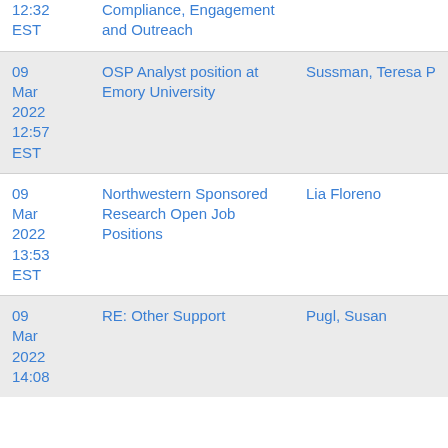| Date | Subject | Sender |
| --- | --- | --- |
| 12:32 EST | Compliance, Engagement and Outreach |  |
| 09 Mar 2022 12:57 EST | OSP Analyst position at Emory University | Sussman, Teresa P |
| 09 Mar 2022 13:53 EST | Northwestern Sponsored Research Open Job Positions | Lia Floreno |
| 09 Mar 2022 14:08 | RE: Other Support | Pugl, Susan |